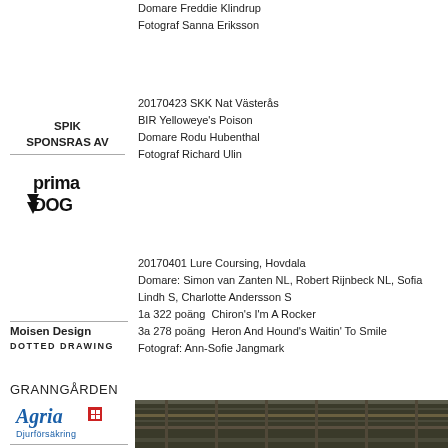Domare Freddie Klindrup
Fotograf Sanna Eriksson
20170423 SKK Nat Västerås
BIR Yelloweye's Poison
Domare Rodu Hubenthal
Fotograf Richard Ulin
SPIK
SPONSRAS AV
[Figure (logo): Prima Dog logo with dog paw icon]
Moisen Design
DOTTED DRAWING
GRANNGÅRDEN
20170401 Lure Coursing, Hovdala
Domare: Simon van Zanten NL, Robert Rijnbeck NL, Sofia Lindh S, Charlotte Andersson S
1a 322 poäng  Chiron's I'm A Rocker
3a 278 poäng  Heron And Hound's Waitin' To Smile
Fotograf: Ann-Sofie Jangmark
[Figure (logo): Agria Djurförsäkring logo in blue with red square icon]
[Figure (photo): Partial photo of what appears to be a dog coursing event, showing structural elements]